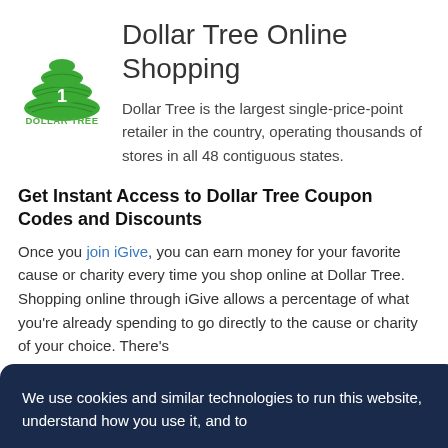Dollar Tree Online Shopping
[Figure (logo): Dollar Tree logo: green tree icon above bold green text 'DOLLAR TREE']
Dollar Tree is the largest single-price-point retailer in the country, operating thousands of stores in all 48 contiguous states.
Get Instant Access to Dollar Tree Coupon Codes and Discounts
Once you join iGive, you can earn money for your favorite cause or charity every time you shop online at Dollar Tree. Shopping online through iGive allows a percentage of what you're already spending to go directly to the cause or charity of your choice. There's
We use cookies and similar technologies to run this website, understand how you use it, and to